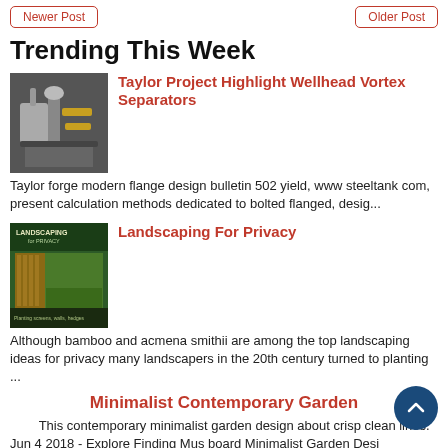Newer Post | Older Post
Trending This Week
[Figure (photo): Photo of a wellhead vortex separator industrial equipment]
Taylor Project Highlight Wellhead Vortex Separators
Taylor forge modern flange design bulletin 502 yield, www steeltank com, present calculation methods dedicated to bolted flanged, desig...
[Figure (photo): Book cover for Landscaping For Privacy]
Landscaping For Privacy
Although bamboo and acmena smithii are among the top landscaping ideas for privacy many landscapers in the 20th century turned to planting ...
Minimalist Contemporary Garden
This contemporary minimalist garden design about crisp clean lines. Jun 4 2018 - Explore Finding Mus board Minimalist Garden Desi